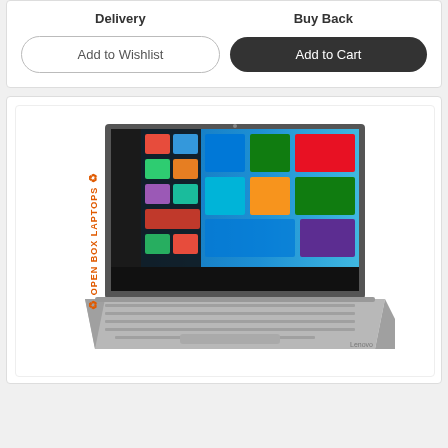Delivery
Buy Back
Add to Wishlist
Add to Cart
[Figure (photo): Lenovo IdeaPad laptop shown open with Windows 10 start screen displayed, silver/grey color, front view with keyboard visible. Open Box Laptops label on the left side.]